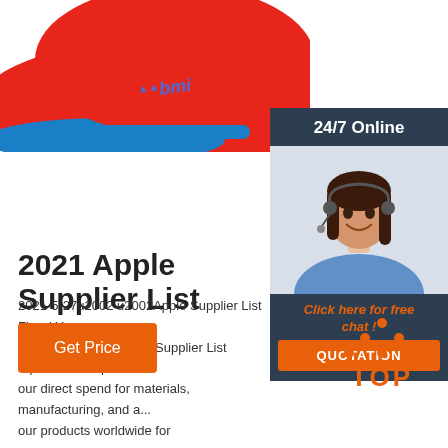[Figure (photo): Red and blue sports cap with 'bmi' logo, viewed from above/side]
[Figure (photo): 24/7 Online chat widget with a smiling woman wearing a headset, 'Click here for free chat!' text and QUOTATION button]
2021 Apple Supplier List
2021-5-27u2002·u2002Apple Supplier List Fiscal Ye... Supplier List The Apple Supplier List represents 98 p... our direct spend for materials, manufacturing, and a... our products worldwide for
[Figure (other): Orange 'Get Price' button]
[Figure (logo): Orange 'TOP' logo with dots arranged in triangle above the text]